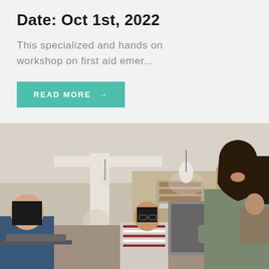Date: Oct 1st, 2022
This specialized and hands on workshop on first aid emer...
READ MORE →
[Figure (photo): Students studying in a library. A young woman with long dark hair leans over a laptop smiling. Two other female students sit in the background, one wearing a striped shirt and glasses, another using a laptop. Library shelves and pendant lights visible in background.]